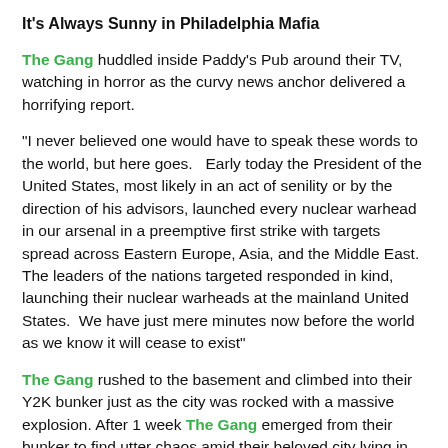It's Always Sunny in Philadelphia Mafia
The Gang huddled inside Paddy's Pub around their TV, watching in horror as the curvy news anchor delivered a horrifying report.
"I never believed one would have to speak these words to the world, but here goes.   Early today the President of the United States, most likely in an act of senility or by the direction of his advisors, launched every nuclear warhead in our arsenal in a preemptive first strike with targets spread across Eastern Europe, Asia, and the Middle East.  The leaders of the nations targeted responded in kind, launching their nuclear warheads at the mainland United States.  We have just mere minutes now before the world as we know it will cease to exist"
The Gang rushed to the basement and climbed into their Y2K bunker just as the city was rocked with a massive explosion. After 1 week The Gang emerged from their bunker to find utter chaos amid their beloved city lying in ruins.  They did notice a large banner hanging off the side of a RV down the